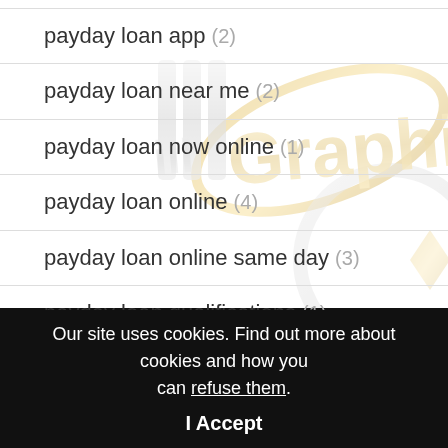[Figure (logo): illGraphix watermark logo with gold and silver text and orbital ring graphic, partially transparent, overlaid on the list area]
payday loan app (2)
payday loan near me (2)
payday loan now online (1)
payday loan online (4)
payday loan online same day (3)
payday loan qualifications (1)
Our site uses cookies. Find out more about cookies and how you can refuse them.
I Accept